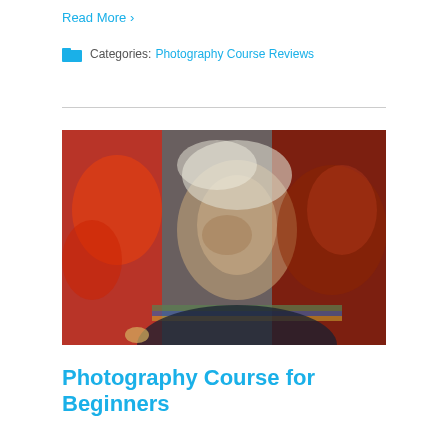Read More ›
Categories: Photography Course Reviews
[Figure (photo): Artistic blurred double-exposure style photograph of an elderly person's face with red and teal/grey background tones]
Photography Course for Beginners